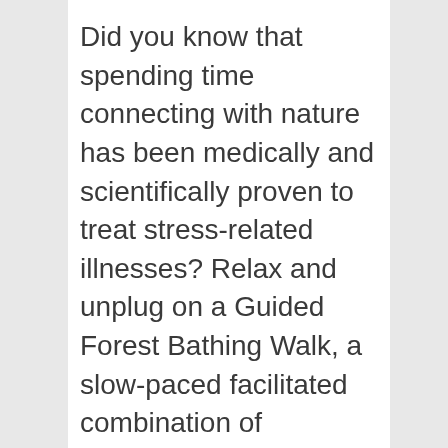Did you know that spending time connecting with nature has been medically and scientifically proven to treat stress-related illnesses? Relax and unplug on a Guided Forest Bathing Walk, a slow-paced facilitated combination of wandering, sitting, and resting. Participants will cover no more than 1-2 miles as they are guided through a sequence of gentle sensory-opening invitations that welcome us to notice more of our surroundings in a way that support reconnecting and deepening our connection with